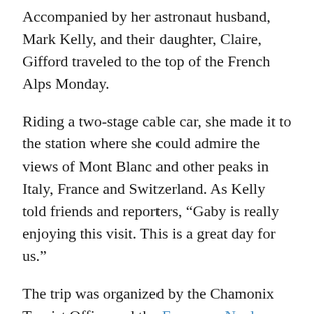Accompanied by her astronaut husband, Mark Kelly, and their daughter, Claire, Gifford traveled to the top of the French Alps Monday.
Riding a two-stage cable car, she made it to the station where she could admire the views of Mont Blanc and other peaks in Italy, France and Switzerland. As Kelly told friends and reporters, “Gaby is really enjoying this visit. This is a great day for us.”
The trip was organized by the Chamonix Tourist Office and the European Nuclear Research Centre, CERN, in Geneva. The AMS particle detector, which Kelly and the Endeavour team took with them to the International Space Station in May of 2011...